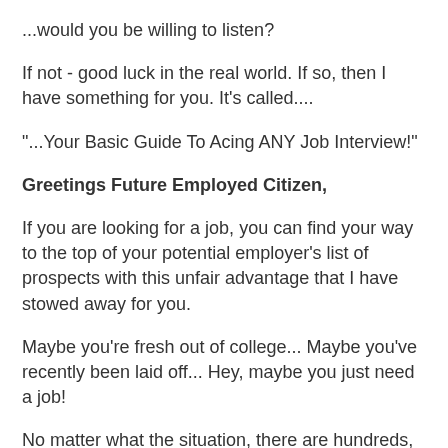...would you be willing to listen?
If not - good luck in the real world. If so, then I have something for you. It's called....
"...Your Basic Guide To Acing ANY Job Interview!"
Greetings Future Employed Citizen,
If you are looking for a job, you can find your way to the top of your potential employer's list of prospects with this unfair advantage that I have stowed away for you.
Maybe you're fresh out of college... Maybe you've recently been laid off... Hey, maybe you just need a job!
No matter what the situation, there are hundreds, even thousands in the same boat as you. You need an income. The bills are piling up, there are loans to repay, credit to fix